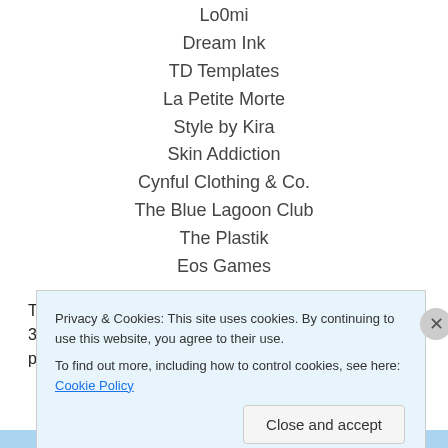Lo0mi
Dream Ink
TD Templates
La Petite Morte
Style by Kira
Skin Addiction
Cynful Clothing & Co.
The Blue Lagoon Club
The Plastik
Eos Games
The Skin Fair runs from March 15th through March 31st. Also a scrint limit is enforced, set at 50 scrints per person, so
Privacy & Cookies: This site uses cookies. By continuing to use this website, you agree to their use.
To find out more, including how to control cookies, see here: Cookie Policy
Close and accept